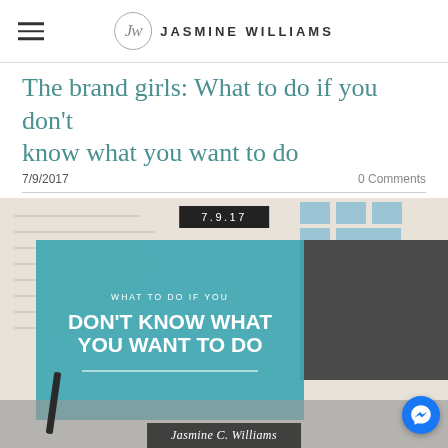Jasmine Williams
The brand girls: What to do if you don't know what you want to do
7/9/2017   0 Comments
[Figure (photo): Blog post featured image with teal overlay box reading 'WHAT TO DO IF YOU DON'T KNOW WHAT YOU WANT TO DO', date badge '7.9.17', laptop in background, pen, and signature 'Jasmine C. Williams']